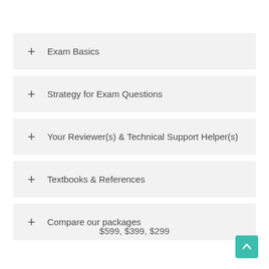+ Exam Basics
+ Strategy for Exam Questions
+ Your Reviewer(s) & Technical Support Helper(s)
+ Textbooks & References
+ Compare our packages
$599, $399, $299